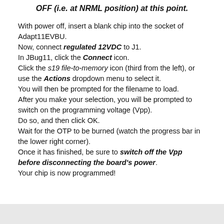OFF (i.e. at NRML position) at this point.
With power off, insert a blank chip into the socket of Adapt11EVBU.
Now, connect regulated 12VDC to J1.
In JBug11, click the Connect icon.
Click the s19 file-to-memory icon (third from the left), or use the Actions dropdown menu to select it.
You will then be prompted for the filename to load.
After you make your selection, you will be prompted to switch on the programming voltage (Vpp).
Do so, and then click OK.
Wait for the OTP to be burned (watch the progress bar in the lower right corner).
Once it has finished, be sure to switch off the Vpp before disconnecting the board's power.
Your chip is now programmed!